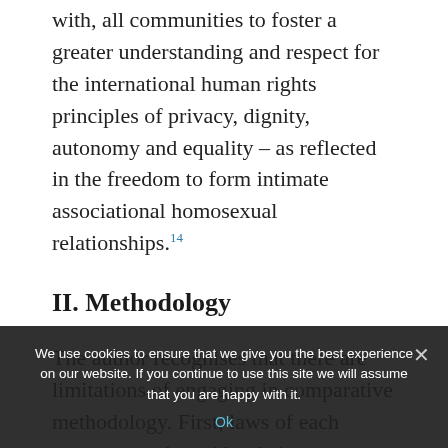with, all communities to foster a greater understanding and respect for the international human rights principles of privacy, dignity, autonomy and equality – as reflected in the freedom to form intimate associational homosexual relationships.14
II. Methodology
The author recognises that there are limitations of engaging in comparative methodology. First, laws of each country are shaped by their own particular historical context. Though it is important to recognise the potential utility of law as a means of bringing about social change, it is important to acknowledge that a law or principle in a particular jurisdiction can represent distinct historical legal conventions, customary traditions and mores. There are limitations